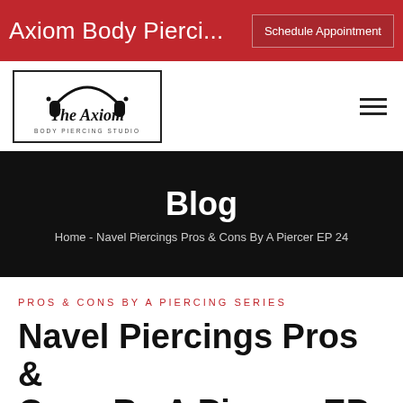Axiom Body Pierci...
Schedule Appointment
[Figure (logo): The Axiom body piercing shop logo with headphones graphic and decorative border]
Blog
Home - Navel Piercings Pros & Cons By A Piercer EP 24
Pros & Cons by a Piercing Series
Navel Piercings Pros & Cons By A Piercer EP 24